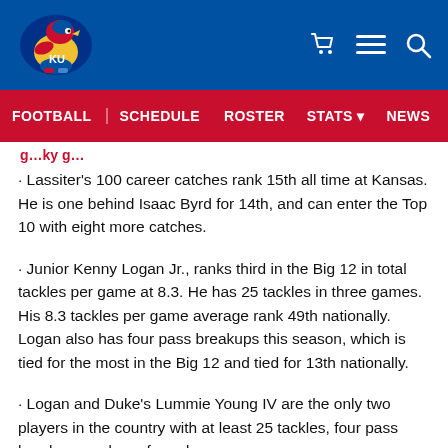University of Kansas Athletics – KU Football
FOOTBALL | SCHEDULE | ROSTER | STATS | NEWS | TICKETS
· Lassiter's 100 career catches rank 15th all time at Kansas. He is one behind Isaac Byrd for 14th, and can enter the Top 10 with eight more catches.
· Junior Kenny Logan Jr., ranks third in the Big 12 in total tackles per game at 8.3. He has 25 tackles in three games. His 8.3 tackles per game average rank 49th nationally. Logan also has four pass breakups this season, which is tied for the most in the Big 12 and tied for 13th nationally.
· Logan and Duke's Lummie Young IV are the only two players in the country with at least 25 tackles, four pass breakups and one forced fumble. Young has 25 tackles, four pass breakups and one forced fumble.